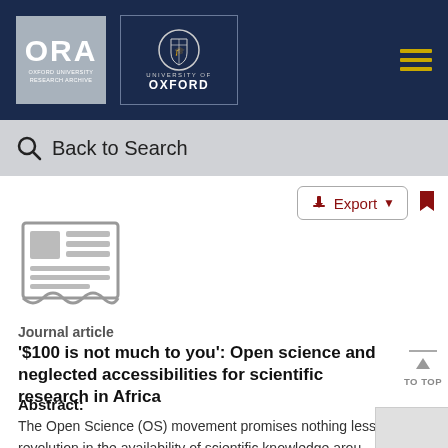[Figure (logo): ORA Oxford University Research Archive logo and University of Oxford shield logo on dark navy header bar]
Back to Search
[Figure (illustration): Document/journal article icon - grey newspaper-style icon]
Journal article
'$100 is not much to you': Open science and neglected accessibilities for scientific research in Africa
Abstract:
The Open Science (OS) movement promises nothing less revolution in the availability of scientific knowledge arou globe. By removing barriers to online data and encouraging